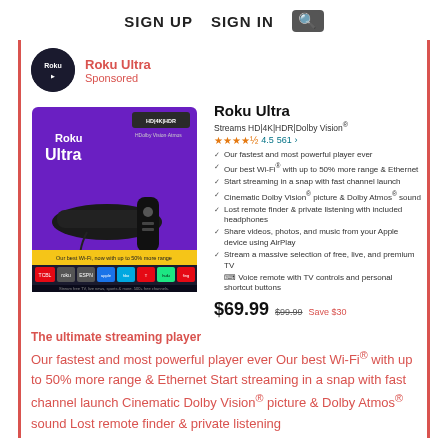SIGN UP   SIGN IN 🔍
[Figure (logo): Roku circular logo on dark background]
Roku Ultra
Sponsored
[Figure (photo): Roku Ultra product box with streaming device and remote]
Roku Ultra
Streams HD|4K|HDR|Dolby Vision®
★★★★½ 4.5  561 ›
Our fastest and most powerful player ever
Our best Wi-Fi® with up to 50% more range & Ethernet
Start streaming in a snap with fast channel launch
Cinematic Dolby Vision® picture & Dolby Atmos® sound
Lost remote finder & private listening with included headphones
Share videos, photos, and music from your Apple device using AirPlay
Stream a massive selection of free, live, and premium TV
Voice remote with TV controls and personal shortcut buttons
$69.99  $99.99  Save $30
The ultimate streaming player
Our fastest and most powerful player ever Our best Wi-Fi® with up to 50% more range & Ethernet Start streaming in a snap with fast channel launch Cinematic Dolby Vision® picture & Dolby Atmos® sound Lost remote finder & private listening